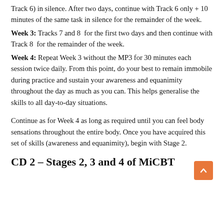Track 6) in silence. After two days, continue with Track 6 only + 10 minutes of the same task in silence for the remainder of the week.
Week 3: Tracks 7 and 8 for the first two days and then continue with Track 8 for the remainder of the week.
Week 4: Repeat Week 3 without the MP3 for 30 minutes each session twice daily. From this point, do your best to remain immobile during practice and sustain your awareness and equanimity throughout the day as much as you can. This helps generalise the skills to all day-to-day situations.
Continue as for Week 4 as long as required until you can feel body sensations throughout the entire body. Once you have acquired this set of skills (awareness and equanimity), begin with Stage 2.
CD 2 – Stages 2, 3 and 4 of MiCBT